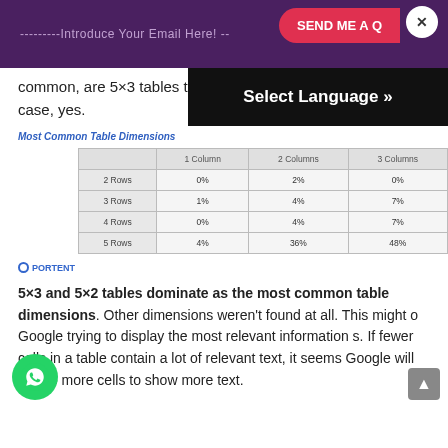--------Introduce Your Email Here! -- SEND ME A Q [X]
common, are 5×3 tables the most common case, yes.
Most Common Table Dimensions
|  | 1 Column | 2 Columns | 3 Columns |
| --- | --- | --- | --- |
| 2 Rows | 0% | 2% | 0% |
| 3 Rows | 1% | 4% | 7% |
| 4 Rows | 0% | 4% | 7% |
| 5 Rows | 4% | 36% | 48% |
[Figure (logo): Portent logo with circular icon]
5×3 and 5×2 tables dominate as the most common table dimensions. Other dimensions weren't found at all. This might o Google trying to display the most relevant information s. If fewer cells in a table contain a lot of relevant text, it seems Google will forego more cells to show more text.